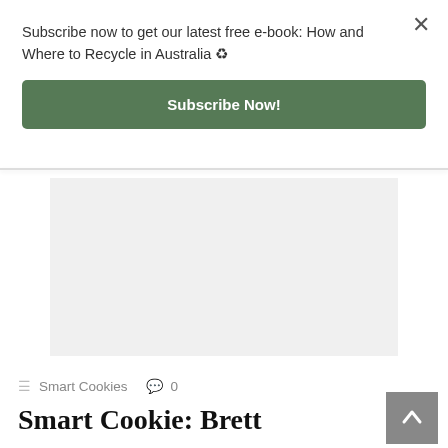Subscribe now to get our latest free e-book: How and Where to Recycle in Australia ♻
Subscribe Now!
[Figure (other): Grey placeholder advertisement box]
Smart Cookies  0
Smart Cookie: Brett